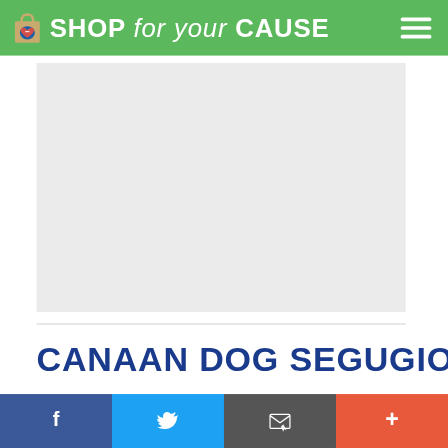SHOP for your CAUSE
[Figure (screenshot): Gray placeholder advertisement or content area]
CANAAN DOG SEGUGIO ITALIAN
Facebook, Twitter, Email, More social share buttons